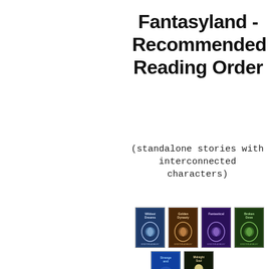Fantasyland - Recommended Reading Order
(standalone stories with interconnected characters)
[Figure (illustration): Six fantasy book covers arranged in two rows: top row has four books (blue, brown, purple, green covers), bottom row has two books (blue, dark green/brown covers). All appear to be part of the Fantasyland series.]